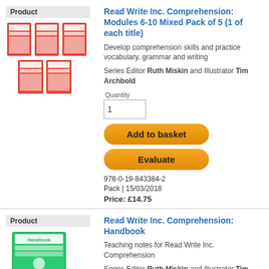Product
[Figure (photo): Stack of 5 red book covers for Read Write Inc. Comprehension Modules 6-10]
Read Write Inc. Comprehension: Modules 6-10 Mixed Pack of 5 (1 of each title)
Develop comprehension skills and practice vocabulary, grammar and writing
Series Editor Ruth Miskin and Illustrator Tim Archbold
Quantity
1
Add to basket
Evaluate
978-0-19-843384-2
Pack | 15/03/2018
Price:  £14.75
Product
[Figure (photo): Green handbook book cover for Read Write Inc. Comprehension Handbook]
Read Write Inc. Comprehension: Handbook
Teaching notes for Read Write Inc. Comprehension
Series Editor Ruth Miskin and Illustrator Tim Archbold